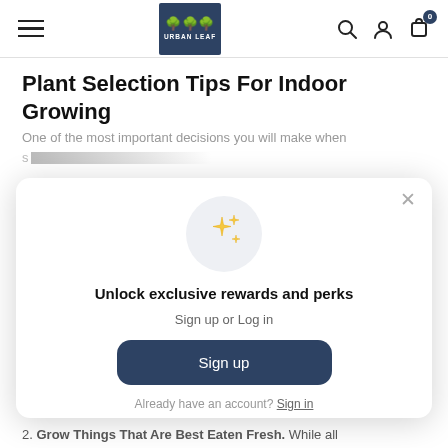Urban Leaf navigation bar with hamburger menu, logo, search, account, and cart icons
Plant Selection Tips For Indoor Growing
One of the most important decisions you will make when ...
[Figure (screenshot): Modal popup with sparkle stars icon: 'Unlock exclusive rewards and perks', Sign up or Log in, Sign up button, Already have an account? Sign in]
2. Grow Things That Are Best Eaten Fresh. While all